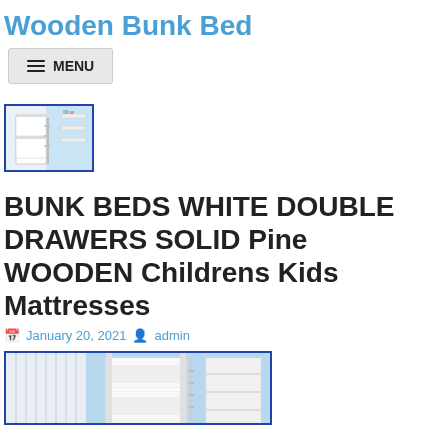Wooden Bunk Bed
[Figure (screenshot): Menu button with hamburger icon and MENU text]
[Figure (photo): Thumbnail image of white bunk bed with blue border]
BUNK BEDS WHITE DOUBLE DRAWERS SOLID Pine WOODEN Childrens Kids Mattresses
January 20, 2021 admin
[Figure (photo): Partial image of bunk bed with light blue background, bottom cut off]